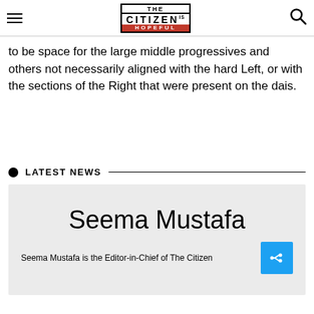THE CITIZEN IS HOPEFUL
to be space for the large middle progressives and others not necessarily aligned with the hard Left, or with the sections of the Right that were present on the dais.
LATEST NEWS
Seema Mustafa
Seema Mustafa is the Editor-in-Chief of The Citizen